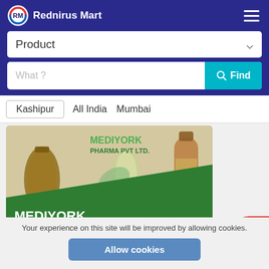Rednirus Mart
Product
What ?
Kashipur   All India   Mumbai
[Figure (photo): Mediyork Pharma Pvt Ltd company banner showing pharmaceutical bottles and pills with green diagonal design]
Your experience on this site will be improved by allowing cookies.
Allow cookies